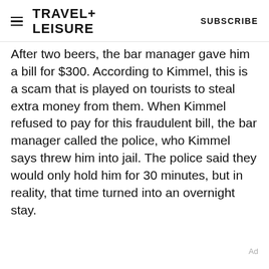TRAVEL+ LEISURE   SUBSCRIBE
After two beers, the bar manager gave him a bill for $300. According to Kimmel, this is a scam that is played on tourists to steal extra money from them. When Kimmel refused to pay for this fraudulent bill, the bar manager called the police, who Kimmel says threw him into jail. The police said they would only hold him for 30 minutes, but in reality, that time turned into an overnight stay.
Ad